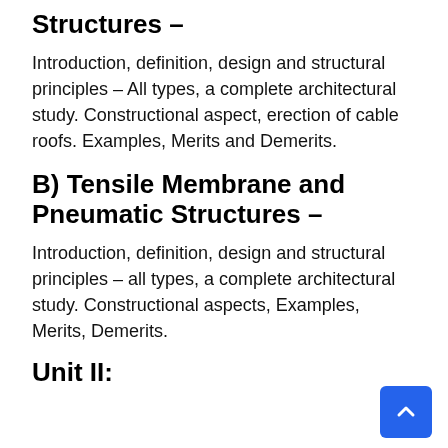Structures –
Introduction, definition, design and structural principles – All types, a complete architectural study. Constructional aspect, erection of cable roofs. Examples, Merits and Demerits.
B) Tensile Membrane and Pneumatic Structures –
Introduction, definition, design and structural principles – all types, a complete architectural study. Constructional aspects, Examples, Merits, Demerits.
Unit II: